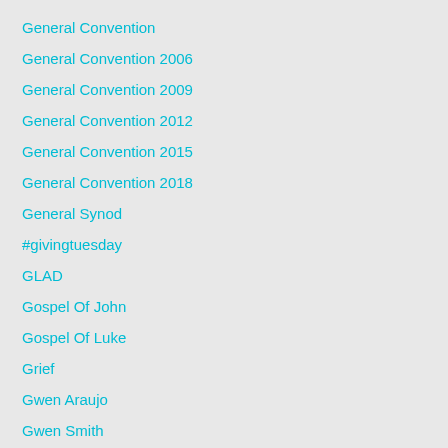General Convention
General Convention 2006
General Convention 2009
General Convention 2012
General Convention 2015
General Convention 2018
General Synod
#givingtuesday
GLAD
Gospel Of John
Gospel Of Luke
Grief
Gwen Araujo
Gwen Smith
Harvard Divinity School
Harvard University
Harvey Milk
Hate Crimes
Haunting